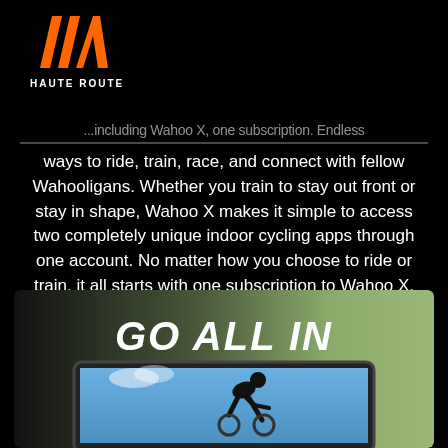[Figure (logo): Haute Route logo: orange diagonal slash marks forming a mountain/arrow shape above text 'HAUTE ROUTE']
...including Wahoo X, one subscription. Endless ways to ride, train, race, and connect with fellow Wahooligans. Whether you train to stay out front or stay in shape, Wahoo X makes it simple to access two completely unique indoor cycling apps through one account. No matter how you choose to ride or train, it all starts with one subscription to Wahoo X.
[Figure (screenshot): Promotional image with gradient background (black to green), large bold italic text 'GO ALL IN', and a tablet device showing a cyclist riding outdoors against a blue sky.]